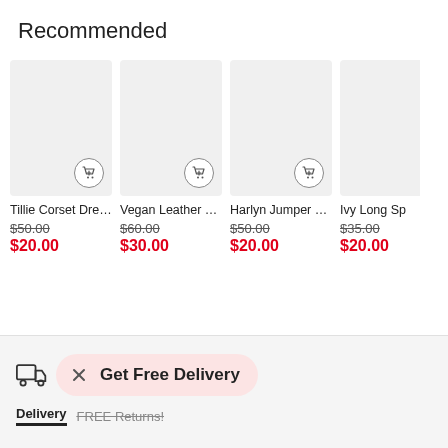Recommended
[Figure (screenshot): Product card: Tillie Corset Dre... image placeholder with add-to-cart icon]
Tillie Corset Dre...
$50.00 $20.00
[Figure (screenshot): Product card: Vegan Leather ... image placeholder with add-to-cart icon]
Vegan Leather ...
$60.00 $30.00
[Figure (screenshot): Product card: Harlyn Jumper ... image placeholder with add-to-cart icon]
Harlyn Jumper ...
$50.00 $20.00
[Figure (screenshot): Product card: Ivy Long Sp... (partially visible) image placeholder]
Ivy Long Sp
$35.00 $20.00
Get Free Delivery
Delivery
FREE Returns!